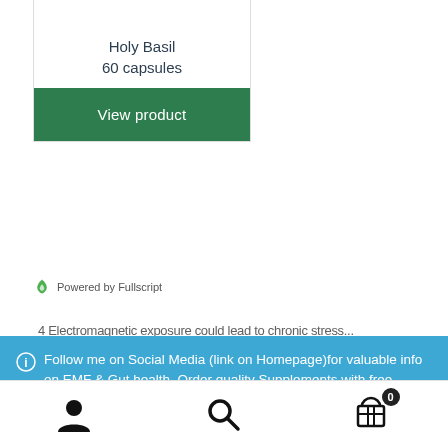Holy Basil
60 capsules
View product
Powered by Fullscript
Follow me on Social Media (link on Homepage)for valuable info on EMF & Gut health. Order quality Supplements with free shipping on all orders over $50
Dismiss
[Figure (screenshot): Bottom navigation bar with user/account icon, search icon, and shopping cart icon with badge showing 0]